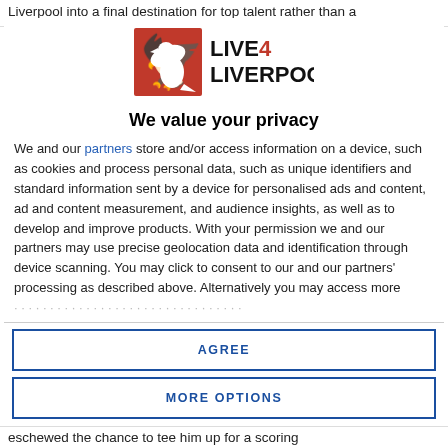Liverpool into a final destination for top talent rather than a
[Figure (logo): Live4Liverpool logo: red square with white Liver Bird symbol on left, bold black text LIVE4LIVERPOOL on right]
We value your privacy
We and our partners store and/or access information on a device, such as cookies and process personal data, such as unique identifiers and standard information sent by a device for personalised ads and content, ad and content measurement, and audience insights, as well as to develop and improve products. With your permission we and our partners may use precise geolocation data and identification through device scanning. You may click to consent to our and our partners' processing as described above. Alternatively you may access more
AGREE
MORE OPTIONS
eschewed the chance to tee him up for a scoring